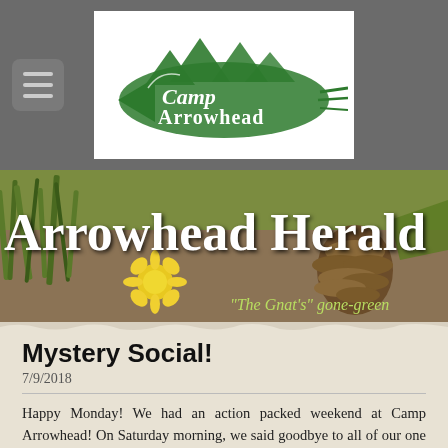[Figure (logo): Camp Arrowhead logo — green arrowhead shape with mountain peaks and the text 'Camp Arrowhead' in decorative lettering on a white background, displayed in a gray navigation bar with a hamburger menu button on the left]
[Figure (photo): Arrowhead Herald banner image showing outdoor nature scene with grass, a yellow dandelion flower, and a pine cone. White bold text reads 'Arrowhead Herald' and italic green text reads '"The Gnat's" gone-green']
Mystery Social!
7/9/2018
Happy Monday! We had an action packed weekend at Camp Arrowhead! On Saturday morning, we said goodbye to all of our one week campers while the two week campers went about their days as usual. Then,